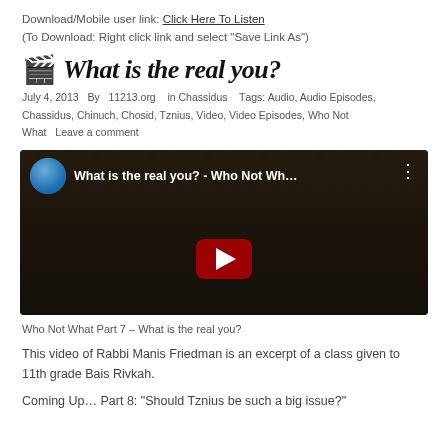Download/Mobile user link: Click Here To Listen
(To Download: Right click link and select “Save Link As”)
🎬 What is the real you?
July 4, 2013  By  11213.org   in Chassidus   Tags: Audio, Audio Episodes, Chassidus, Chinuch, Chosid, Tznius, Video, Video Episodes, Who Not What   Leave a comment
[Figure (screenshot): YouTube video player thumbnail showing 'What is the real you? - Who Not Wh...' with a play button, avatar of a man in a suit, and dark bookshelf background]
Who Not What Part 7 – What is the real you?
This video of Rabbi Manis Friedman is an excerpt of a class given to 11th grade Bais Rivkah.
Coming Up… Part 8: “Should Tznius be such a big issue?”